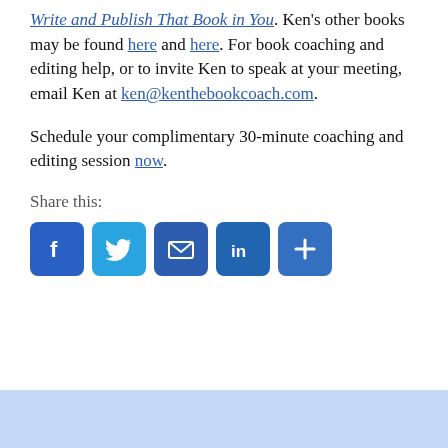Write and Publish That Book in You. Ken's other books may be found here and here. For book coaching and editing help, or to invite Ken to speak at your meeting, email Ken at ken@kenthebookcoach.com.
Schedule your complimentary 30-minute coaching and editing session now.
Share this:
[Figure (infographic): Five social sharing buttons: Facebook (blue with f icon), Twitter (light blue with bird icon), Email (blue with envelope icon), LinkedIn (blue with in icon), More/Share (blue with + icon)]